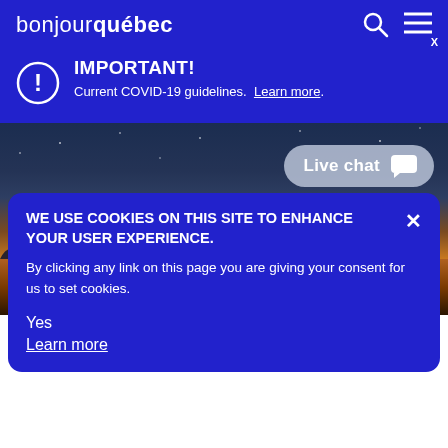bonjour québec
IMPORTANT! Current COVID-19 guidelines. Learn more.
[Figure (screenshot): Scenic Quebec landscape background with twilight sky gradient, tree silhouette, Live chat button, and partial Map of Québec button visible]
WE USE COOKIES ON THIS SITE TO ENHANCE YOUR USER EXPERIENCE. By clicking any link on this page you are giving your consent for us to set cookies. Yes Learn more